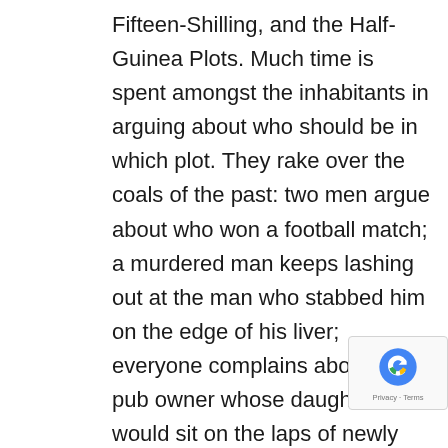Fifteen-Shilling, and the Half-Guinea Plots. Much time is spent amongst the inhabitants in arguing about who should be in which plot. They rake over the coals of the past: two men argue about who won a football match; a murdered man keeps lashing out at the man who stabbed him on the edge of his liver; everyone complains about the pub owner whose daughter would sit on the laps of newly wealthy men and get them to drink all of their money away on increasingly watered-down whiskey; they despise as well the shop owner who doled out tea and cigarettes more cheaply to big wigs and whose shoddy leaky shoes many have died from wearing.